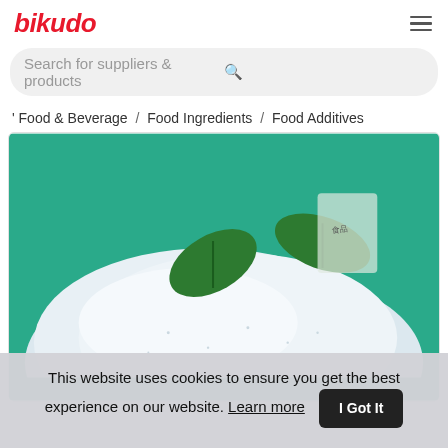bikudo
Search for suppliers & products
Food & Beverage / Food Ingredients / Food Additives
[Figure (photo): White powder (food additive) shaped in a mound with green leaves on a teal/green background]
This website uses cookies to ensure you get the best experience on our website. Learn more | I Got It